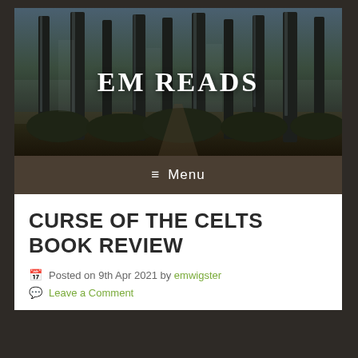[Figure (illustration): Forest header banner with tall misty trees and moody dark atmosphere]
EM READS
≡ Menu
CURSE OF THE CELTS BOOK REVIEW
Posted on 9th Apr 2021 by emwigster
Leave a Comment